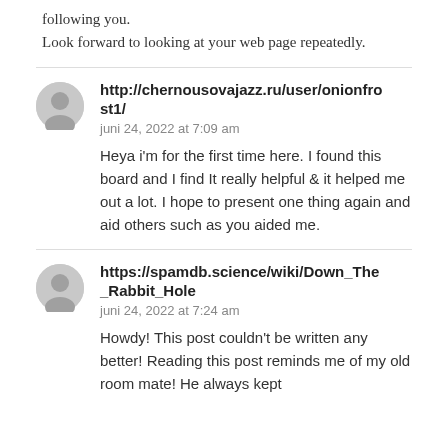following you.
Look forward to looking at your web page repeatedly.
http://chernousovajazz.ru/user/onionfrost1/
juni 24, 2022 at 7:09 am
Heya i'm for the first time here. I found this board and I find It really helpful & it helped me out a lot. I hope to present one thing again and aid others such as you aided me.
https://spamdb.science/wiki/Down_The_Rabbit_Hole
juni 24, 2022 at 7:24 am
Howdy! This post couldn't be written any better! Reading this post reminds me of my old room mate! He always kept